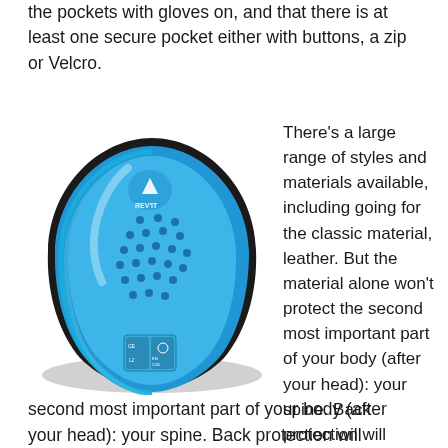the pockets with gloves on, and that there is at least one secure pocket either with buttons, a zip or Velcro.
[Figure (photo): A blue REV'IT motorcycle back protector pad with ventilation holes and a black foam border, photographed at an angle on a white background.]
There's a large range of styles and materials available, including going for the classic material, leather. But the material alone won't protect the second most important part of your body (after your head): your spine. Back protection will